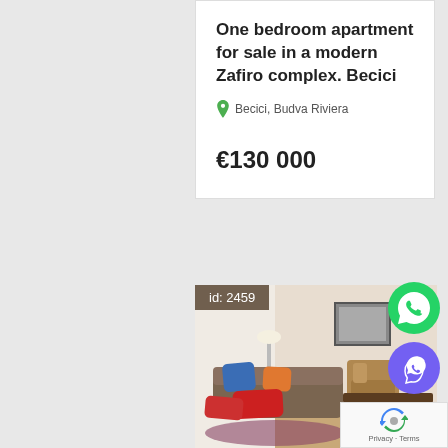One bedroom apartment for sale in a modern Zafiro complex. Becici
Becici, Budva Riviera
€130 000
[Figure (photo): Interior photo of a living room with brown sofa, colorful cushions (blue, orange, red), wicker dining chairs, flowers, and a framed picture on the wall. Badge overlay: id: 2459]
[Figure (logo): WhatsApp green phone icon button]
[Figure (logo): Viber purple icon button]
Privacy · Terms